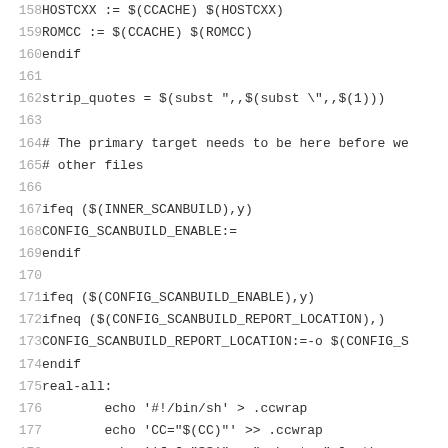158   HOSTCXX := $(CCACHE) $(HOSTCXX)
159   ROMCC := $(CCACHE) $(ROMCC)
160   endif
161
162   strip_quotes = $(subst ",,$(subst \",, $(1)))
163
164   # The primary target needs to be here before we
165   # other files
166
167   ifeq ($(INNER_SCANBUILD),y)
168   CONFIG_SCANBUILD_ENABLE:=
169   endif
170
171   ifeq ($(CONFIG_SCANBUILD_ENABLE),y)
172   ifneq ($(CONFIG_SCANBUILD_REPORT_LOCATION),)
173   CONFIG_SCANBUILD_REPORT_LOCATION:=-o $(CONFIG_S
174   endif
175   real-all:
176           echo '#!/bin/sh' > .ccwrap
177           echo 'CC="$(CC)"' >> .ccwrap
178           echo 'if [ "$$1" = "--hostcc" ]; then s